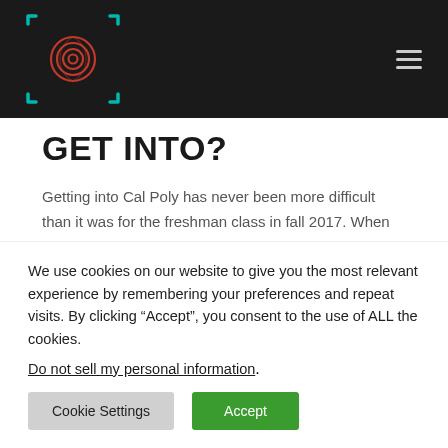[Logo: fingerprint icon] [Hamburger menu]
GET INTO?
Getting into Cal Poly has never been more difficult than it was for the freshman class in fall 2017. When Cal Poly began publishing enrollment analysis in 1998, the average high school GPA for incoming freshman was 3.64. It climbed to 3... and has been higher than 3.8
We use cookies on our website to give you the most relevant experience by remembering your preferences and repeat visits. By clicking “Accept”, you consent to the use of ALL the cookies.
Do not sell my personal information.